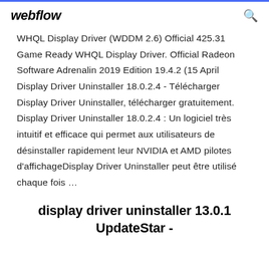webflow
WHQL Display Driver (WDDM 2.6) Official 425.31 Game Ready WHQL Display Driver. Official Radeon Software Adrenalin 2019 Edition 19.4.2 (15 April Display Driver Uninstaller 18.0.2.4 - Télécharger Display Driver Uninstaller, télécharger gratuitement. Display Driver Uninstaller 18.0.2.4 : Un logiciel très intuitif et efficace qui permet aux utilisateurs de désinstaller rapidement leur NVIDIA et AMD pilotes d'affichageDisplay Driver Uninstaller peut être utilisé chaque fois ...
display driver uninstaller 13.0.1 UpdateStar -